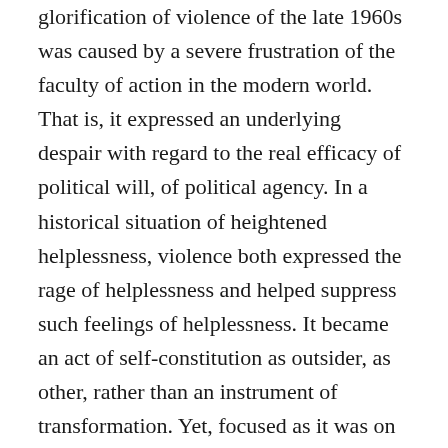glorification of violence of the late 1960s was caused by a severe frustration of the faculty of action in the modern world. That is, it expressed an underlying despair with regard to the real efficacy of political will, of political agency. In a historical situation of heightened helplessness, violence both expressed the rage of helplessness and helped suppress such feelings of helplessness. It became an act of self-constitution as outsider, as other, rather than an instrument of transformation. Yet, focused as it was on the bureaucratic stasis of the Fordist world, it echoed the destruction of that world by the dynamics of capital. The idea of a fundamental transformation became bracketed and, instead, was replaced by the more ambiguous notion of resistance.
The notion of resistance, however, says little about the nature of that which is being resisted or of the politics